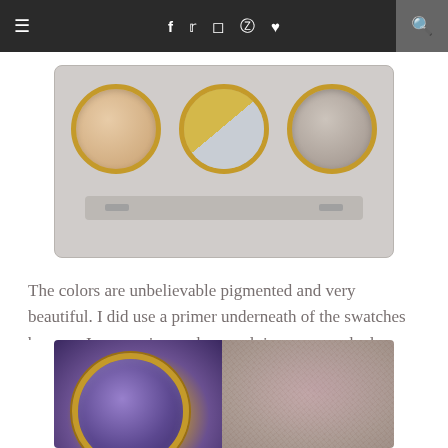Navigation bar with hamburger menu, social icons (f, twitter, Instagram, Pinterest, heart), and search icon
[Figure (photo): Eyeshadow palette with three pans: a nude/beige shade, a duo-chrome gold and silver shade, and a taupe shade, in gold/rose-gold rimmed pans against a light gray palette tray]
The colors are unbelievable pigmented and very beautiful. I did use a primer underneath of the swatches because I use a primer when applying my eye shadow.
[Figure (photo): Left half: a purple eyeshadow pan in gold compact. Right half: a swatch of the purple eyeshadow on skin showing a shimmery lavender-mauve color with visible skin texture.]